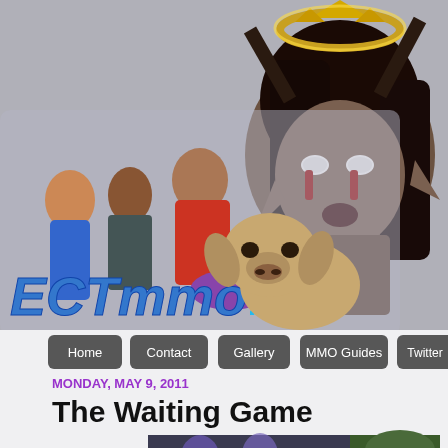[Figure (screenshot): ECTmmo.com website header screenshot showing fantasy MMO characters, a pug dog, logo, navigation bar, date, and blog post title 'The Waiting Game']
ECTmmo.com- MMO Blog: The Adventures of Kaozz...
THE WAITING GAME
MONDAY, MAY 9, 2011